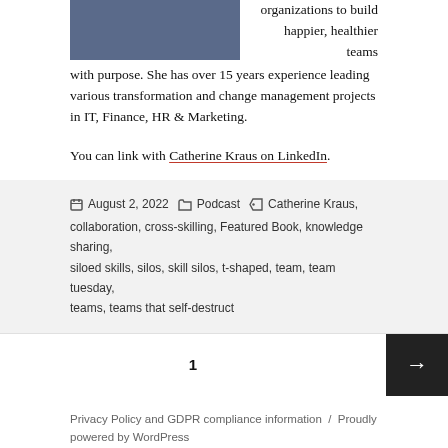organizations to build happier, healthier teams with purpose. She has over 15 years experience leading various transformation and change management projects in IT, Finance, HR & Marketing.
You can link with Catherine Kraus on LinkedIn.
August 2, 2022  Podcast  Catherine Kraus, collaboration, cross-skilling, Featured Book, knowledge sharing, siloed skills, silos, skill silos, t-shaped, team, team tuesday, teams, teams that self-destruct
1
Privacy Policy and GDPR compliance information  /  Proudly powered by WordPress